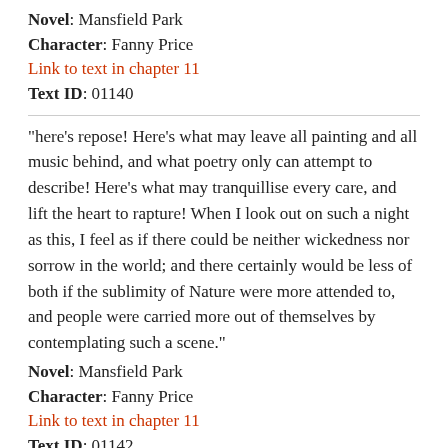Novel: Mansfield Park
Character: Fanny Price
Link to text in chapter 11
Text ID: 01140
"here's repose! Here's what may leave all painting and all music behind, and what poetry only can attempt to describe! Here's what may tranquillise every care, and lift the heart to rapture! When I look out on such a night as this, I feel as if there could be neither wickedness nor sorrow in the world; and there certainly would be less of both if the sublimity of Nature were more attended to, and people were carried more out of themselves by contemplating such a scene."
Novel: Mansfield Park
Character: Fanny Price
Link to text in chapter 11
Text ID: 01142
"You taught me to think and feel on the subject, cousin."
Novel: Mansfield Park
Character: Fanny Price